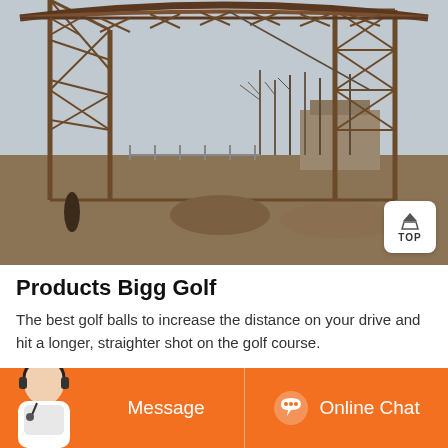[Figure (photo): Construction site showing a large metal truss/framework structure being built, with workers, bare trees, and buildings in the background under an overcast sky.]
Products Bigg Golf
The best golf balls to increase the distance on your drive and hit a longer, straighter shot on the golf course.
[Figure (infographic): Orange banner with a customer service representative avatar on the left, a 'Message' button in the center-left, and an 'Online Chat' button with headset icon on the right.]